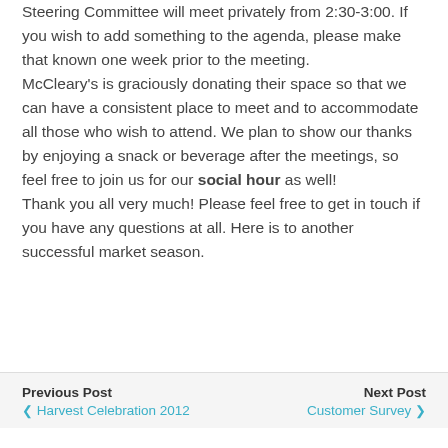Steering Committee will meet privately from 2:30-3:00. If you wish to add something to the agenda, please make that known one week prior to the meeting. McCleary's is graciously donating their space so that we can have a consistent place to meet and to accommodate all those who wish to attend. We plan to show our thanks by enjoying a snack or beverage after the meetings, so feel free to join us for our social hour as well! Thank you all very much! Please feel free to get in touch if you have any questions at all. Here is to another successful market season.
Previous Post < Harvest Celebration 2012   Next Post Customer Survey >